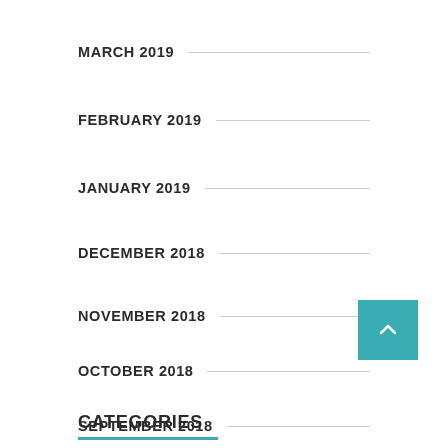MARCH 2019
FEBRUARY 2019
JANUARY 2019
DECEMBER 2018
NOVEMBER 2018
OCTOBER 2018
SEPTEMBER 2018
MARCH 2018
CATEGORIES